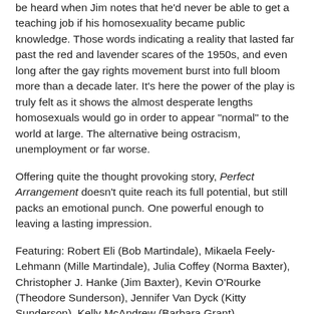be heard when Jim notes that he'd never be able to get a teaching job if his homosexuality became public knowledge. Those words indicating a reality that lasted far past the red and lavender scares of the 1950s, and even long after the gay rights movement burst into full bloom more than a decade later. It's here the power of the play is truly felt as it shows the almost desperate lengths homosexuals would go in order to appear "normal" to the world at large. The alternative being ostracism, unemployment or far worse.
Offering quite the thought provoking story, Perfect Arrangement doesn't quite reach its full potential, but still packs an emotional punch. One powerful enough to leaving a lasting impression.
Featuring: Robert Eli (Bob Martindale), Mikaela Feely-Lehmann (Mille Martindale), Julia Coffey (Norma Baxter), Christopher J. Hanke (Jim Baxter), Kevin O'Rourke (Theodore Sunderson), Jennifer Van Dyck (Kitty Sunderson), Kelly McAndrew (Barbara Grant).
Prefect Arrangement